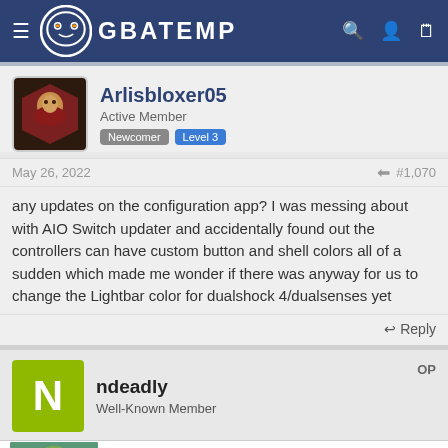GBATEMP
Arlisbloxer05
Active Member
Newcomer Level 3
May 26, 2022  #1,070
any updates on the configuration app? I was messing about with AIO Switch updater and accidentally found out the controllers can have custom button and shell colors all of a sudden which made me wonder if there was anyway for us to change the Lightbar color for dualshock 4/dualsenses yet
Reply
ndeadly
Well-Known Member  OP
Trending Flowers & Gifts For All Occasions
Shop The Collection
www.1800flowers.com